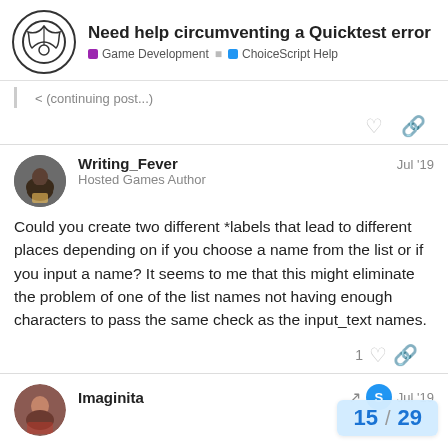Need help circumventing a Quicktest error | Game Development | ChoiceScript Help
Could you create two different *labels that lead to different places depending on if you choose a name from the list or if you input a name? It seems to me that this might eliminate the problem of one of the list names not having enough characters to pass the same check as the input_text names.
Writing_Fever | Hosted Games Author | Jul '19
Imaginita | Jul '19
15 / 29